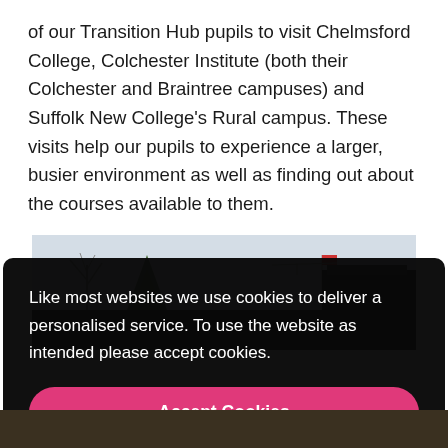of our Transition Hub pupils to visit Chelmsford College, Colchester Institute (both their Colchester and Braintree campuses) and Suffolk New College's Rural campus. These visits help our pupils to experience a larger, busier environment as well as finding out about the courses available to them.
[Figure (photo): Outdoor photo showing trees, bare winter branches, and a dark building structure against a pale sky.]
Like most websites we use cookies to deliver a personalised service. To use the website as intended please accept cookies.
Accept Cookies